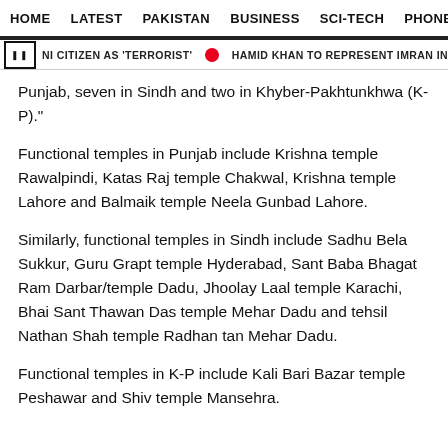HOME   LATEST   PAKISTAN   BUSINESS   SCI-TECH   PHONES   W
NI CITIZEN AS 'TERRORIST'   HAMID KHAN TO REPRESENT IMRAN IN CONTEMPT CA
Punjab, seven in Sindh and two in Khyber-Pakhtunkhwa (K-P)."
Functional temples in Punjab include Krishna temple Rawalpindi, Katas Raj temple Chakwal, Krishna temple Lahore and Balmaik temple Neela Gunbad Lahore.
Similarly, functional temples in Sindh include Sadhu Bela Sukkur, Guru Grapt temple Hyderabad, Sant Baba Bhagat Ram Darbar/temple Dadu, Jhoolay Laal temple Karachi, Bhai Sant Thawan Das temple Mehar Dadu and tehsil Nathan Shah temple Radhan tan Mehar Dadu.
Functional temples in K-P include Kali Bari Bazar temple Peshawar and Shiv temple Mansehra.